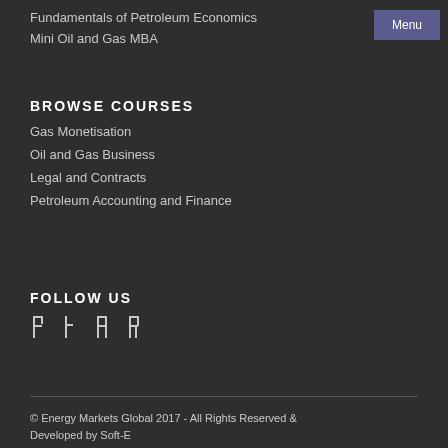Fundamentals of Petroleum Economics
Mini Oil and Gas MBA
BROWSE COURSES
Gas Monetisation
Oil and Gas Business
Legal and Contracts
Petroleum Accounting and Finance
FOLLOW US
[Figure (infographic): Four social media icon buttons in a row]
© Energy Markets Global 2017 - All Rights Reserved & Developed by Soft-E